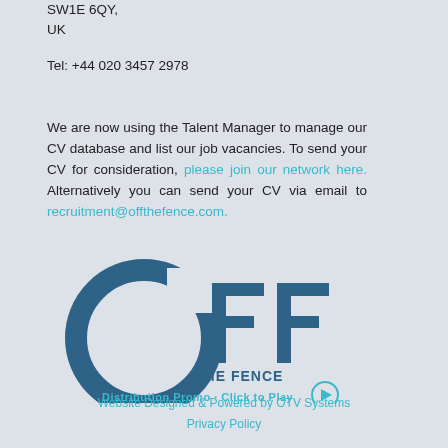SW1E 6QY,
UK
Tel: +44 020 3457 2978
We are now using the Talent Manager to manage our CV database and list our job vacancies. To send your CV for consideration, please join our network here. Alternatively you can send your CV via email to recruitment@offthefence.com.
[Figure (logo): Off The Fence logo with circular ring and bold OFF lettering, plus 'THE FENCE' text below and 'Distribution Promo · Click to Play' tagline with play button icon]
Website Designed & Powered by OTV Systems
Privacy Policy